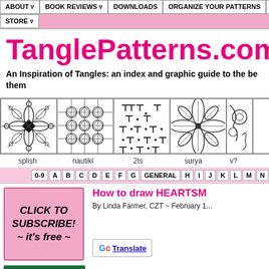ABOUT | BOOK REVIEWS | DOWNLOADS | ORGANIZE YOUR PATTERNS | SUB... | STORE
TanglePatterns.com
An Inspiration of Tangles: an index and graphic guide to the best of them
[Figure (illustration): Four tangle pattern images in a strip: splish, nautikl, 2ts, surya, and a partial fifth]
splish   nautikl   2ts   surya   v?
[Figure (infographic): Alphabet index navigation bar: 0-9, A, B, C, D, E, F, G, GENERAL, H, I, J, K, L, M, N]
[Figure (infographic): Pink CLICK TO SUBSCRIBE! ~ it's free ~ button]
How to draw HEARTSM...
By Linda Farmer, CZT ~ February 1...
[Figure (logo): Google Translate button]
[Figure (logo): Zentangle logo bar in green]